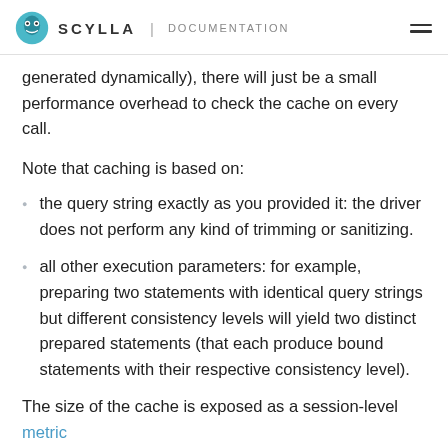SCYLLA | DOCUMENTATION
generated dynamically), there will just be a small performance overhead to check the cache on every call.
Note that caching is based on:
the query string exactly as you provided it: the driver does not perform any kind of trimming or sanitizing.
all other execution parameters: for example, preparing two statements with identical query strings but different consistency levels will yield two distinct prepared statements (that each produce bound statements with their respective consistency level).
The size of the cache is exposed as a session-level metric cql-prepared-cache-size . The cache uses [weak